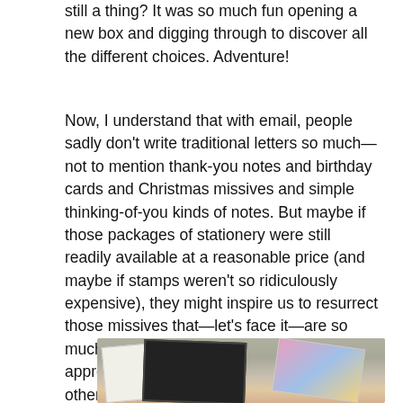still a thing? It was so much fun opening a new box and digging through to discover all the different choices. Adventure!
Now, I understand that with email, people sadly don't write traditional letters so much—not to mention thank-you notes and birthday cards and Christmas missives and simple thinking-of-you kinds of notes. But maybe if those packages of stationery were still readily available at a reasonable price (and maybe if stamps weren't so ridiculously expensive), they might inspire us to resurrect those missives that—let's face it—are so much more civilized and precious and appreciated than emails and tweets and other electronically dashed-off communications that lack the personality and individuality and caring of old-fashioned letter-writing.
[Figure (photo): Partial view of stationery cards and envelopes, with colorful patterns visible, on a gray/neutral surface]